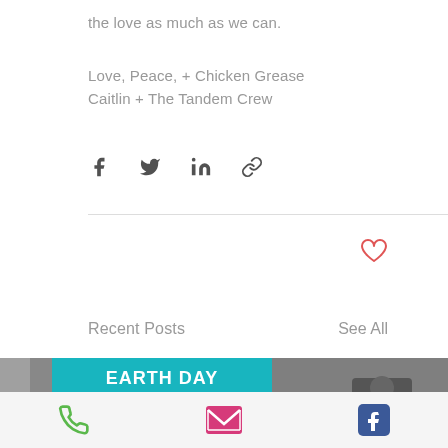the love as much as we can.
Love, Peace, + Chicken Grease
Caitlin + The Tandem Crew
[Figure (infographic): Social share icons: Facebook, Twitter, LinkedIn, Link]
[Figure (infographic): Heart/like icon in coral/red outline]
Recent Posts
See All
[Figure (photo): Row of recent post thumbnails: partial dark photo, Earth Day Celebration event poster (teal background, April 23, Noon-3PM, featuring Beatgio Fletcher with V Funk, Harley-Davidson Museum), black and white band/music photos, partial green image]
Phone icon, Email icon, Facebook icon